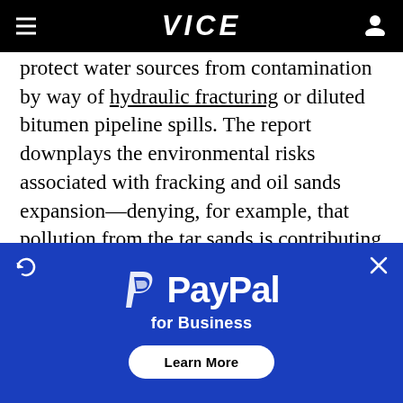VICE
protect water sources from contamination by way of hydraulic fracturing or diluted bitumen pipeline spills. The report downplays the environmental risks associated with fracking and oil sands expansion—denying, for example, that pollution from the tar sands is contributing to cancers in the community of Fort Chipewyan.
[Figure (other): PayPal for Business advertisement banner with blue background, PayPal logo, 'for Business' text, and 'Learn More' button]